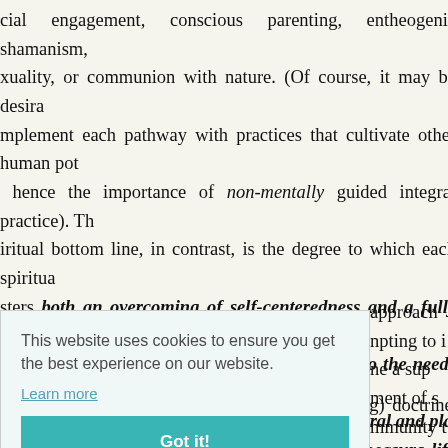cial engagement, conscious parenting, entheogenic shamanism, xuality, or communion with nature. (Of course, it may be desira mplement each pathway with practices that cultivate other human pot hence the importance of non-mentally guided integral practice). Th iritual bottom line, in contrast, is the degree to which each spiritua sters both an overcoming of self-centeredness and a fully em egration that make us not only more sensitive to the needs of ture, and the world, but also more effective cultural and pla nsformative agents in whatever contexts and measure life or spirit c be.
This website uses cookies to ensure you get the best experience on our website.
Learn more
Got it!
approach npting to i ne a sup ment of s mmunity t riety of co to the my — even or unila
nscendentalist, or disembodied, or world-denying) doctrines and n